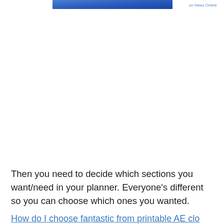[Figure (other): Blue banner/header graphic at the top of the page]
on Newz Online
Then you need to decide which sections you want/need in your planner. Everyone's different so you can choose which ones you wanted.
How do I choose fantastic from printable AE close...